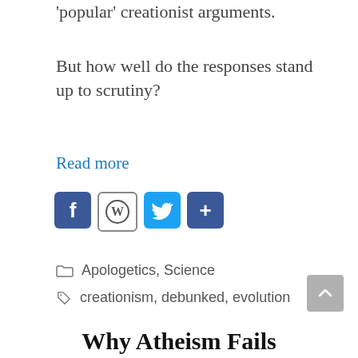'popular' creationist arguments.
But how well do the responses stand up to scrutiny?
Read more
[Figure (infographic): Social sharing icons: Facebook (blue), WordPress (white/grey border), Twitter (blue), Share/Plus (blue)]
Apologetics, Science
creationism, debunked, evolution
[Figure (infographic): Grey scroll-to-top button with upward chevron arrow]
Why Atheism Fails